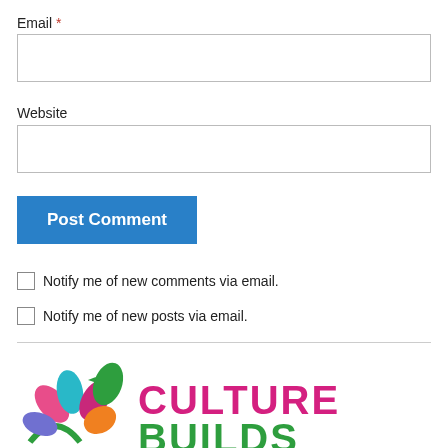Email *
(email input field)
Website
(website input field)
Post Comment
Notify me of new comments via email.
Notify me of new posts via email.
[Figure (logo): Culture Builds logo with colorful flower petals and green circle arc, with 'CULTURE BUILDS' text in magenta/pink]